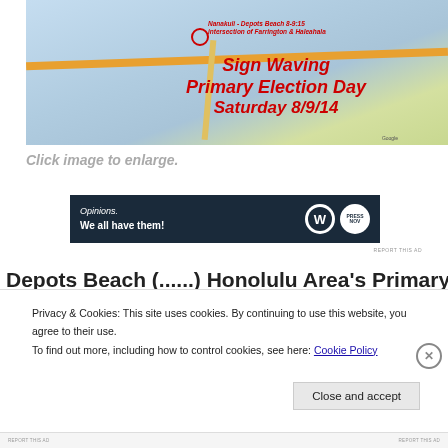[Figure (map): Google map showing Nanakuli - Depots Beach area with a red circle marker and overlay text: 'Sign Waving Primary Election Day Saturday 8/9/14' and location label 'Nanakuli - Depots Beach 8-9:15 intersection of Farrington & Haleahala']
Click image to enlarge.
[Figure (screenshot): Advertisement banner with dark navy background. Text: 'Opinions. We all have them!' with WordPress logo and another circular logo on the right.]
REPORT THIS AD
Privacy & Cookies: This site uses cookies. By continuing to use this website, you agree to their use.
To find out more, including how to control cookies, see here: Cookie Policy
Close and accept
REPORT THIS AD